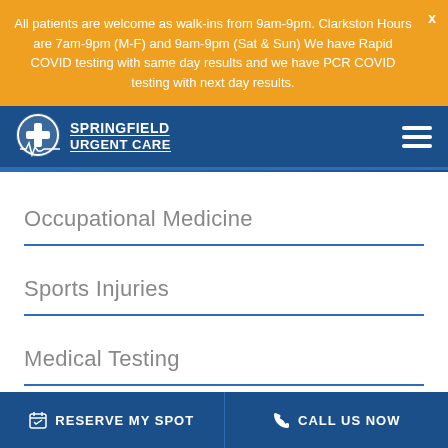All patients are welcome as walk-ins from 9am-9pm. Clarkston Hours are 7am-9pm (M-F) and 9am-9pm (Sat & Sun) We have Rapid COVID testing with same day results and we have PCR COVID testing with next day results.
[Figure (logo): Springfield Urgent Care logo with medical cross icon and heartbeat line]
Occupational Medicine
Sports Injuries
Medical Testing
RESERVE MY SPOT
CALL US NOW